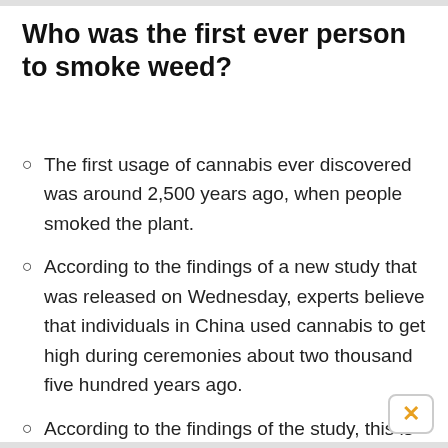Who was the first ever person to smoke weed?
The first usage of cannabis ever discovered was around 2,500 years ago, when people smoked the plant.
According to the findings of a new study that was released on Wednesday, experts believe that individuals in China used cannabis to get high during ceremonies about two thousand five hundred years ago.
According to the findings of the study, this is the very first instance of cannabis consumption by a human being anywhere in